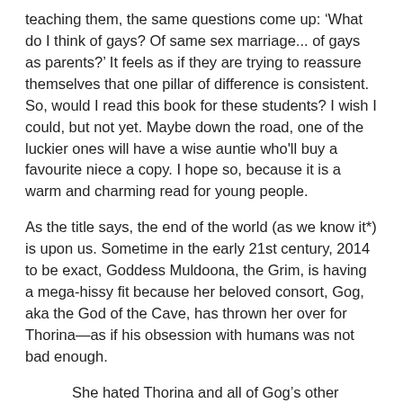teaching them, the same questions come up: 'What do I think of gays? Of same sex marriage... of gays as parents?' It feels as if they are trying to reassure themselves that one pillar of difference is consistent. So, would I read this book for these students? I wish I could, but not yet. Maybe down the road, one of the luckier ones will have a wise auntie who'll buy a favourite niece a copy. I hope so, because it is a warm and charming read for young people.
As the title says, the end of the world (as we know it*) is upon us. Sometime in the early 21st century, 2014 to be exact, Goddess Muldoona, the Grim, is having a mega-hissy fit because her beloved consort, Gog, aka the God of the Cave, has thrown her over for Thorina—as if his obsession with humans was not bad enough.
She hated Thorina and all of Gog's other dismal sidekicks. They were compatriots on the side of Anti-Evil, or 'Good' as they liked to call it. But most of all, she hated Gog. She loathed Gog more than anything in the world, more than puppies, flowers or happiness.